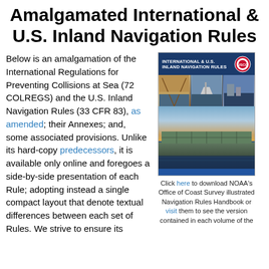Amalgamated International & U.S. Inland Navigation Rules
Below is an amalgamation of the International Regulations for Preventing Collisions at Sea (72 COLREGS) and the U.S. Inland Navigation Rules (33 CFR 83), as amended; their Annexes; and, some associated provisions. Unlike its hard-copy predecessors, it is available only online and foregoes a side-by-side presentation of each Rule; adopting instead a single compact layout that denote textual differences between each set of Rules. We strive to ensure its
[Figure (photo): Cover of the International & U.S. Inland Navigation Rules handbook published by NOAA, showing a header with the title, three small photos of maritime scenes, a large photo of a cargo ship on water at sunset, and a blue footer bar.]
Click here to download NOAA's Office of Coast Survey illustrated Navigation Rules Handbook or visit them to see the version contained in each volume of the